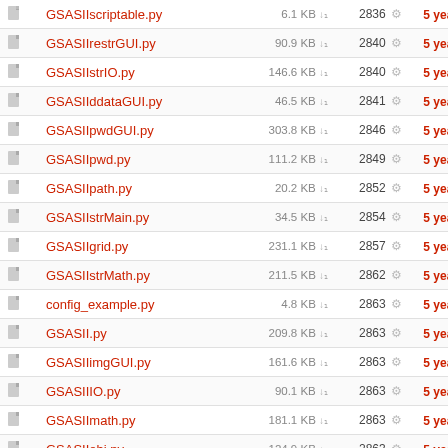|  | Name | Size | Rev | Age | Author |
| --- | --- | --- | --- | --- | --- |
|  | GSASIIscriptable.py | 6.1 KB | 2836 | 5 years | vondre |
|  | GSASIIrestrGUI.py | 90.9 KB | 2840 | 5 years | vondre |
|  | GSASIIstrIO.py | 146.6 KB | 2840 | 5 years | vondre |
|  | GSASIIddataGUI.py | 46.5 KB | 2841 | 5 years | vondre |
|  | GSASIIpwdGUI.py | 303.8 KB | 2846 | 5 years | vondre |
|  | GSASIIpwd.py | 111.2 KB | 2849 | 5 years | vondre |
|  | GSASIIpath.py | 20.2 KB | 2852 | 5 years | toby |
|  | GSASIIstrMain.py | 34.5 KB | 2854 | 5 years | vondre |
|  | GSASIIgrid.py | 231.1 KB | 2857 | 5 years | toby |
|  | GSASIIstrMath.py | 211.5 KB | 2862 | 5 years | vondre |
|  | config_example.py | 4.8 KB | 2863 | 5 years | vondre |
|  | GSASII.py | 209.8 KB | 2863 | 5 years | vondre |
|  | GSASIIimgGUI.py | 161.6 KB | 2863 | 5 years | vondre |
|  | GSASIIIO.py | 90.1 KB | 2863 | 5 years | vondre |
|  | GSASIImath.py | 181.1 KB | 2863 | 5 years | vondre |
|  | GSASIIobj.py | 124.9 KB | 2863 | 5 years | vondre |
|  | GSASIIplot.py | 313.3 KB | 2863 | 5 years | vondre |
|  | GSASIIsasd.py | 58.0 KB | 2863 | 5 years | vondre |
|  | scanCCD.py | 30.7 KB | 2863 | 5 years | vondre |